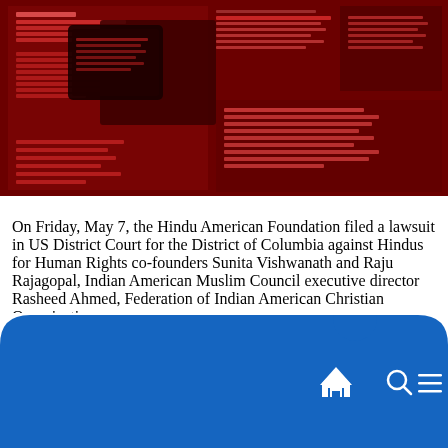[Figure (photo): A dark red-tinted collage of news article screenshots and a tablet device displaying text about Hindu American Foundation and related organizations.]
On Friday, May 7, the Hindu American Foundation filed a lawsuit in US District Court for the District of Columbia against Hindus for Human Rights co-founders Sunita Vishwanath and Raju Rajagopal, Indian American Muslim Council executive director Rasheed Ahmed, Federation of Indian American Christian Organizations
[Figure (screenshot): Blue navigation bar at bottom of mobile screen with home, search, and menu icons.]